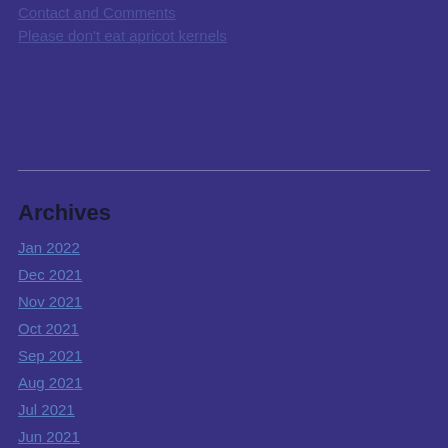Contact and Comments
Please don't eat apricot kernels
Archives
Jan 2022
Dec 2021
Nov 2021
Oct 2021
Sep 2021
Aug 2021
Jul 2021
Jun 2021
May 2021
Apr 2021
Mar 2021
Feb 2021
Jan 2021
Dec 2020